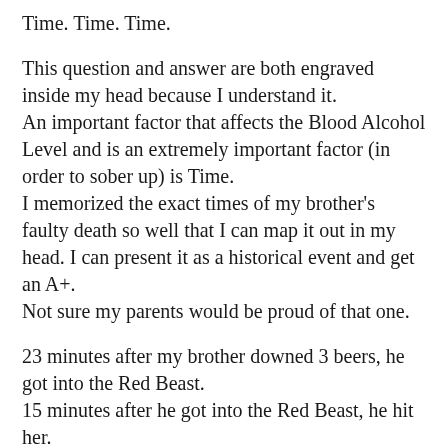Time. Time. Time.
This question and answer are both engraved inside my head because I understand it.
An important factor that affects the Blood Alcohol Level and is an extremely important factor (in order to sober up) is Time.
I memorized the exact times of my brother's faulty death so well that I can map it out in my head. I can present it as a historical event and get an A+.
Not sure my parents would be proud of that one.
23 minutes after my brother downed 3 beers, he got into the Red Beast.
15 minutes after he got into the Red Beast, he hit her.
38 minutes after trying compressions three times on both my brother and the girl,
The doctors stopped trying.
12:07 AM was the time of his death.
For five weeks after, I stayed up every night until 12:07.
I saw the clock change, and I pictured my brother taking his last breath.
His breath probably smelled like beer.